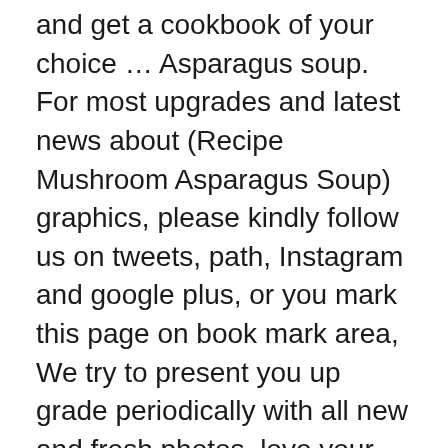and get a cookbook of your choice … Asparagus soup. For most upgrades and latest news about (Recipe Mushroom Asparagus Soup) graphics, please kindly follow us on tweets, path, Instagram and google plus, or you mark this page on book mark area, We try to present you up grade periodically with all new and fresh photos, love your exploring, and find the best for you. ASPARAGUS MUSHROOM SOUP : 4 c. chicken stock or 4 c. water plus 4 to 5 bouillon cubes 1/2 lb. Cook for 5 minutes. Best spring side dish with asparagus and mushrooms. Bring to a boil. Directions. But it was great with a bit of bacon and chives. butter 1/2 c. onion, chopped 3 tbsp. Done editing Cancel. SERVES: 4. Add about 1/4 cup of toasted pecans or slivered almonds to the breadcrumb topping. Add asparagus pieces, onions, mushrooms and ginger. Submitted